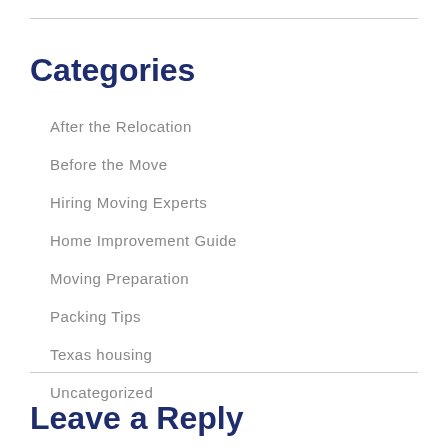Categories
After the Relocation
Before the Move
Hiring Moving Experts
Home Improvement Guide
Moving Preparation
Packing Tips
Texas housing
Uncategorized
Leave a Reply